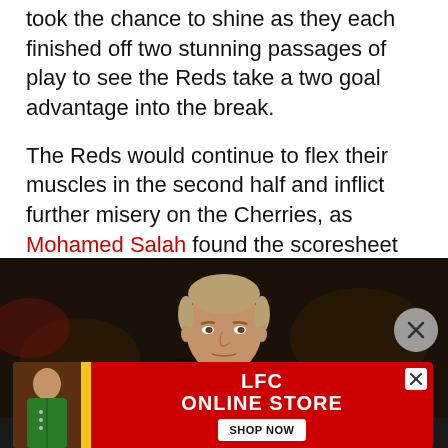took the chance to shine as they each finished off two stunning passages of play to see the Reds take a two goal advantage into the break.
The Reds would continue to flex their muscles in the second half and inflict further misery on the Cherries, as Mohamed Salah found the scoresheet for the fifth consecutive time against the hosts as Liverpool successfully shut up shop to notch a rare clean sheet and another three points.
[Figure (photo): Liverpool player (Jordan Henderson) pictured against a dark background with an LFC Online Store advertisement banner at the bottom]